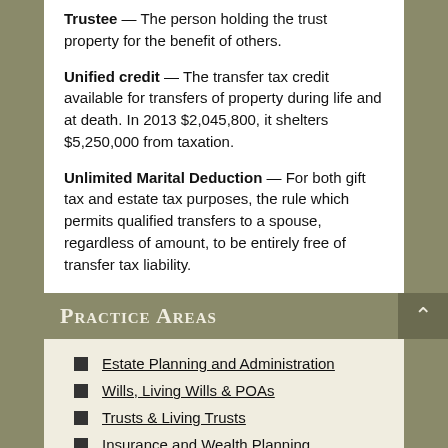Trustee — The person holding the trust property for the benefit of others.
Unified credit — The transfer tax credit available for transfers of property during life and at death. In 2013 $2,045,800, it shelters $5,250,000 from taxation.
Unlimited Marital Deduction — For both gift tax and estate tax purposes, the rule which permits qualified transfers to a spouse, regardless of amount, to be entirely free of transfer tax liability.
Practice Areas
Estate Planning and Administration
Wills, Living Wills & POAs
Trusts & Living Trusts
Insurance and Wealth Planning